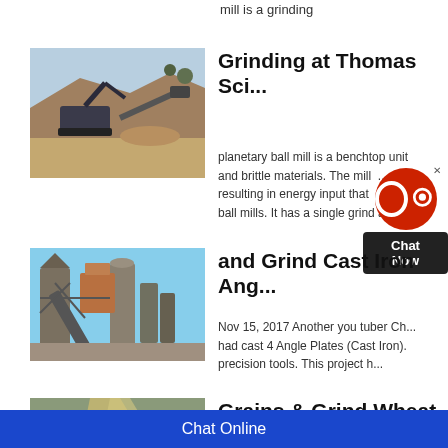mill is a grinding
[Figure (photo): Mining equipment at an open-pit mine, excavator and conveyor belt on rocky terrain]
Grinding at Thomas Sci...
planetary ball mill is a benchtop unit... and brittle materials. The mill ... resulting in energy input that ... to ball mills. It has a single grind a...
[Figure (photo): Industrial grinding/milling facility with metal structures and conveyor systems against blue sky]
and Grind Cast Iron Ang...
Nov 15, 2017 Another you tuber Ch... had cast 4 Angle Plates (Cast Iron). precision tools. This project h...
[Figure (photo): Grain or wheat being ground or milled, dusty material flow]
Grains & Grind Wheat F...
Chat Online